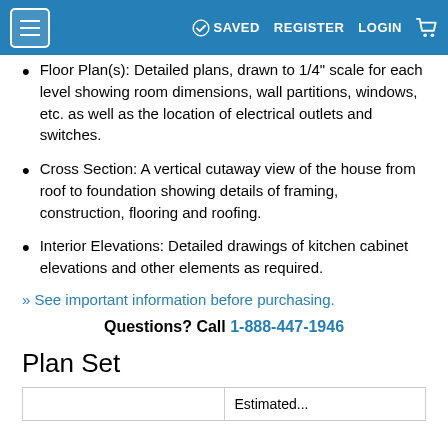SAVED  REGISTER  LOGIN
Floor Plan(s): Detailed plans, drawn to 1/4" scale for each level showing room dimensions, wall partitions, windows, etc. as well as the location of electrical outlets and switches.
Cross Section: A vertical cutaway view of the house from roof to foundation showing details of framing, construction, flooring and roofing.
Interior Elevations: Detailed drawings of kitchen cabinet elevations and other elements as required.
» See important information before purchasing.
Questions? Call 1-888-447-1946
Plan Set
|  | Estimated... |
| --- | --- |
|  |  |